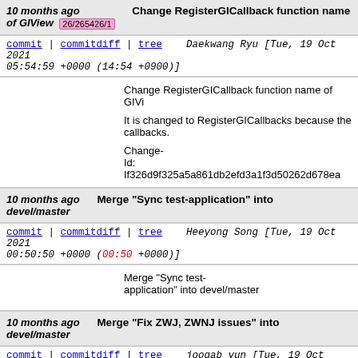10 months ago of GIView 26/265426/1 Change RegisterGICallback function name
commit | commitdiff | tree   Daekwang Ryu [Tue, 19 Oct 2021 05:54:59 +0000 (14:54 +0900)]
Change RegisterGICallback function name of GIView

It is changed to RegisterGICallbacks because the callbacks.

Change-
Id: If326d9f325a5a861db2efd3a1f3d50262d678ea
10 months ago devel/master   Merge "Sync test-application" into
commit | commitdiff | tree   Heeyong Song [Tue, 19 Oct 2021 00:50:50 +0000 (00:50 +0000)]
Merge "Sync test-application" into devel/master
10 months ago devel/master   Merge "Fix ZWJ, ZWNJ issues" into
commit | commitdiff | tree   joogab yun [Tue, 19 Oct 2021 00:46:29 +0000 (00:46 +0000)]